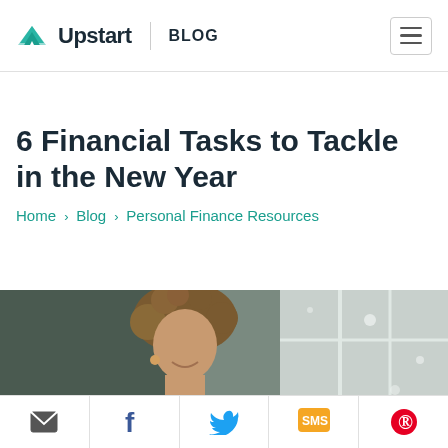Upstart | BLOG
6 Financial Tasks to Tackle in the New Year
Home › Blog › Personal Finance Resources
[Figure (photo): A smiling woman with curly hair, photographed indoors with natural light in the background.]
[Figure (infographic): Social sharing bar with email, Facebook, Twitter, SMS, and Pinterest icons.]